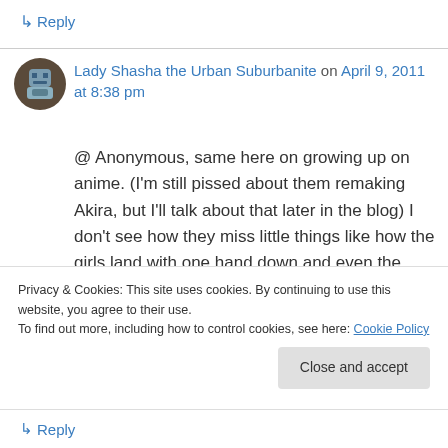↳ Reply
Lady Shasha the Urban Suburbanite on April 9, 2011 at 8:38 pm
@ Anonymous, same here on growing up on anime. (I'm still pissed about them remaking Akira, but I'll talk about that later in the blog) I don't see how they miss little things like how the girls land with one hand down and even the speeding up slowing down as basically live
Privacy & Cookies: This site uses cookies. By continuing to use this website, you agree to their use.
To find out more, including how to control cookies, see here: Cookie Policy
Close and accept
↳ Reply